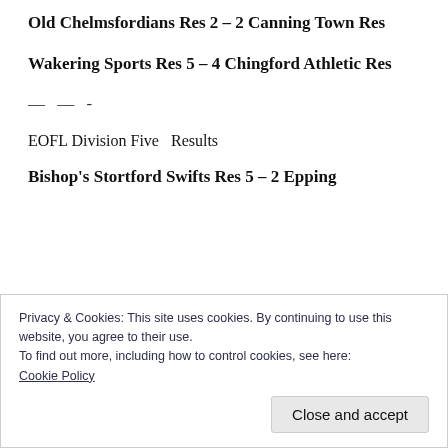Old Chelmsfordians Res  2 – 2  Canning Town Res
Wakering Sports Res  5 – 4  Chingford Athletic Res
— — -
EOFL Division Five  Results
Bishop's Stortford Swifts Res  5 – 2  Epping
Privacy & Cookies: This site uses cookies. By continuing to use this website, you agree to their use.
To find out more, including how to control cookies, see here: Cookie Policy
Close and accept